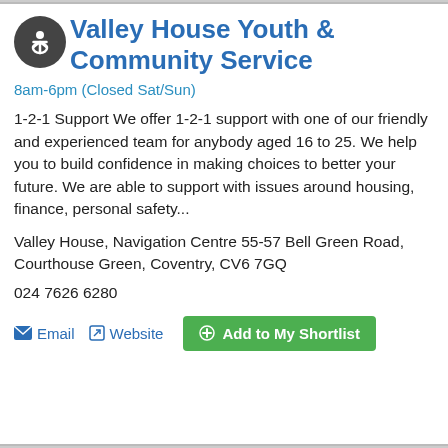Valley House Youth & Community Service
8am-6pm (Closed Sat/Sun)
1-2-1 Support We offer 1-2-1 support with one of our friendly and experienced team for anybody aged 16 to 25. We help you to build confidence in making choices to better your future. We are able to support with issues around housing, finance, personal safety...
Valley House, Navigation Centre 55-57 Bell Green Road, Courthouse Green, Coventry, CV6 7GQ
024 7626 6280
Email  Website  Add to My Shortlist